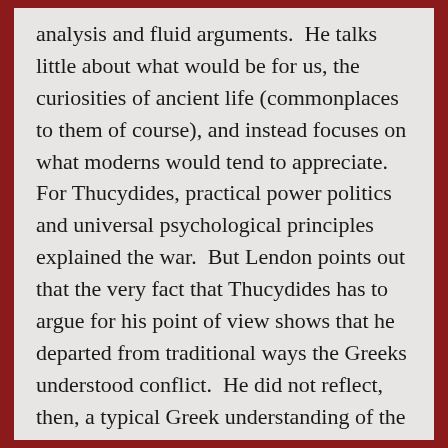analysis and fluid arguments.  He talks little about what would be for us, the curiosities of ancient life (commonplaces to them of course), and instead focuses on what moderns would tend to appreciate.  For Thucydides, practical power politics and universal psychological principles explained the war.  But Lendon points out that the very fact that Thucydides has to argue for his point of view shows that he departed from traditional ways the Greeks understood conflict.  He did not reflect, then, a typical Greek understanding of the war.  This does not mean he was wrong, but it means that we must wonder if this great authority spoke rightly.  In the end, Lendon admirably challenges some of Thucydides' key beliefs and